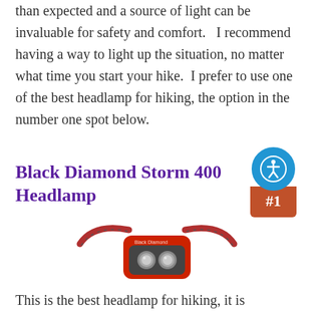than expected and a source of light can be invaluable for safety and comfort.   I recommend having a way to light up the situation, no matter what time you start your hike.  I prefer to use one of the best headlamp for hiking, the option in the number one spot below.
[Figure (other): Accessibility icon (person in circle) in blue circle above a red ribbon badge showing #1]
Black Diamond Storm 400 Headlamp
[Figure (photo): Photo of a Black Diamond Storm 400 Headlamp — red and black headlamp with elastic strap]
This is the best headlamp for hiking, it is